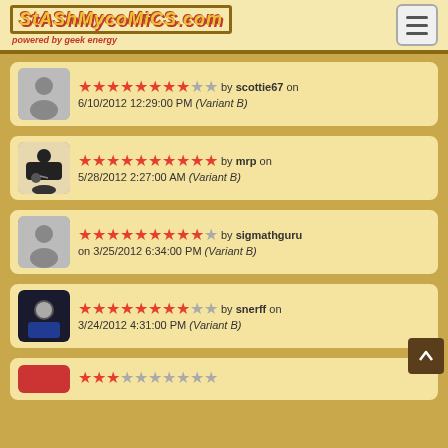StashMyComics.com powered by geek energy
8 stars out of 10 by scottie67 on 6/10/2012 12:29:00 PM (Variant B)
10 stars out of 10 by mrp on 5/28/2012 2:27:00 AM (Variant B)
9 stars out of 10 by sigmathguru on 3/25/2012 6:34:00 PM (Variant B)
8 stars out of 10 by snerff on 3/24/2012 4:31:00 PM (Variant B)
(partial review visible)